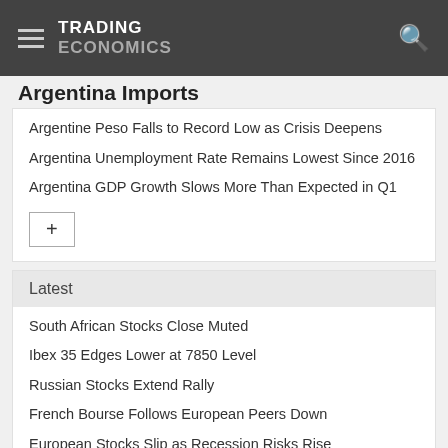TRADING ECONOMICS
Argentina Imports
Argentine Peso Falls to Record Low as Crisis Deepens
Argentina Unemployment Rate Remains Lowest Since 2016
Argentina GDP Growth Slows More Than Expected in Q1
Latest
South African Stocks Close Muted
Ibex 35 Edges Lower at 7850 Level
Russian Stocks Extend Rally
French Bourse Follows European Peers Down
European Stocks Slip as Recession Risks Rise